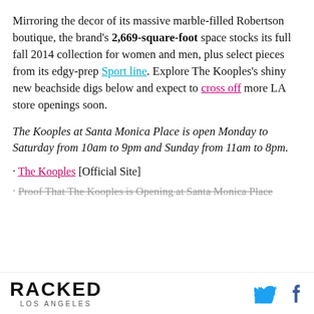Mirroring the decor of its massive marble-filled Robertson boutique, the brand's 2,669-square-foot space stocks its full fall 2014 collection for women and men, plus select pieces from its edgy-prep Sport line. Explore The Kooples's shiny new beachside digs below and expect to cross off more LA store openings soon.
The Kooples at Santa Monica Place is open Monday to Saturday from 10am to 9pm and Sunday from 11am to 8pm.
· The Kooples [Official Site]
· Proof That The Kooples is Opening at Santa Monica Place
RACKED LOS ANGELES